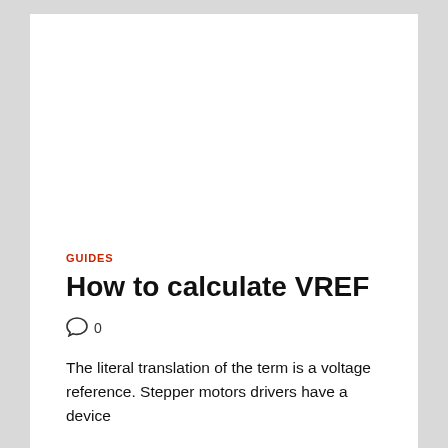[Figure (photo): Large white/blank image area at the top of the article page]
GUIDES
How to calculate VREF
0
The literal translation of the term is a voltage reference. Stepper motors drivers have a device